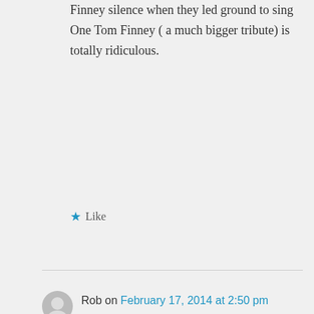Finney silence when they led ground to sing One Tom Finney ( a much bigger tribute) is totally ridiculous.
Like
Rob on February 17, 2014 at 2:50 pm
That is a disgraceful thing to say Sebastien.. You should be utterly ashamed of yourself... You're sick and comments like that bring shame on the Arsenal fan base.. A bit of good humoured banter is one thing but you have stepped way over the